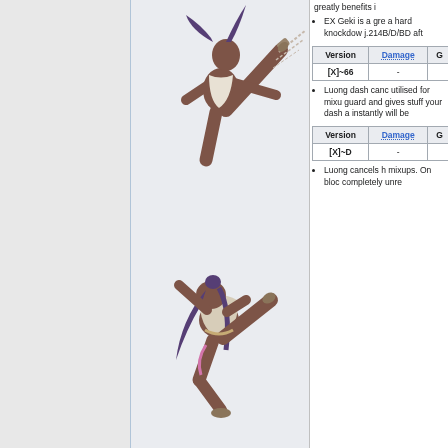[Figure (illustration): Two poses of a female fighting game character (Luong) with dark skin and long dark hair performing high kicks, on a light gray background]
greatly benefits i
EX Geki is a gre a hard knockdow j.214B/D/BD aft
| Version | Damage | G |
| --- | --- | --- |
| [X]~66 | - |  |
Luong dash canc utilised for mixu guard and gives stuff your dash a instantly will be
| Version | Damage | G |
| --- | --- | --- |
| [X]~D | - |  |
Luong cancels h mixups. On bloc completely unre